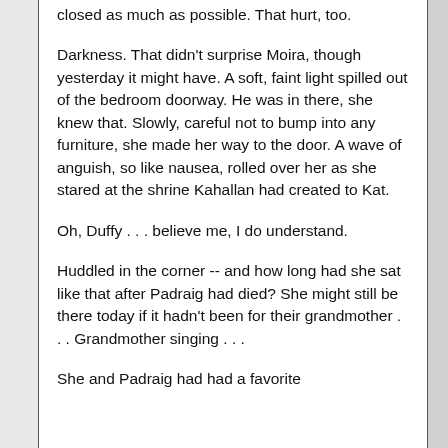closed as much as possible. That hurt, too.
Darkness. That didn't surprise Moira, though yesterday it might have. A soft, faint light spilled out of the bedroom doorway. He was in there, she knew that. Slowly, careful not to bump into any furniture, she made her way to the door. A wave of anguish, so like nausea, rolled over her as she stared at the shrine Kahallan had created to Kat.
Oh, Duffy . . . believe me, I do understand.
Huddled in the corner -- and how long had she sat like that after Padraig had died? She might still be there today if it hadn't been for their grandmother . . . Grandmother singing . . .
She and Padraig had had a favorite